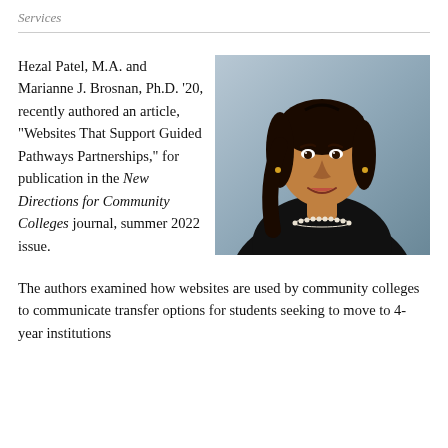Services
Hezal Patel, M.A. and Marianne J. Brosnan, Ph.D. '20, recently authored an article, "Websites That Support Guided Pathways Partnerships," for publication in the New Directions for Community Colleges journal, summer 2022 issue.
[Figure (photo): Professional headshot of a woman with dark hair, wearing a black jacket and pearl necklace, against a light blue-grey background.]
The authors examined how websites are used by community colleges to communicate transfer options for students seeking to move to 4-year institutions